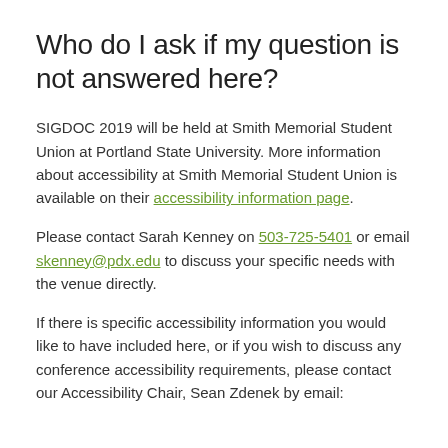Who do I ask if my question is not answered here?
SIGDOC 2019 will be held at Smith Memorial Student Union at Portland State University. More information about accessibility at Smith Memorial Student Union is available on their accessibility information page.
Please contact Sarah Kenney on 503-725-5401 or email skenney@pdx.edu to discuss your specific needs with the venue directly.
If there is specific accessibility information you would like to have included here, or if you wish to discuss any conference accessibility requirements, please contact our Accessibility Chair, Sean Zdenek by email: